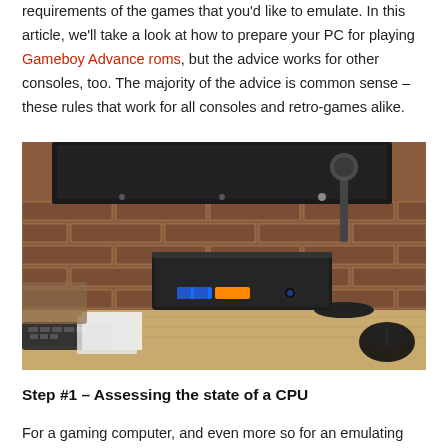requirements of the games that you'd like to emulate. In this article, we'll take a look at how to prepare your PC for playing Gameboy Advance roms, but the advice works for other consoles, too. The majority of the advice is common sense – these rules that work for all consoles and retro-games alike.
[Figure (photo): A small black mini PC (Intel NUC style) sitting on a wooden desk in front of a brick wall, with a monitor visible at top, a microphone stand on the right, and a mouse partially visible at bottom right.]
Step #1 – Assessing the state of a CPU
For a gaming computer, and even more so for an emulating